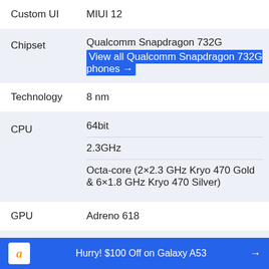| Spec | Value |
| --- | --- |
| Custom UI | MIUI 12 |
| Chipset | Qualcomm Snapdragon 732G / View all Qualcomm Snapdragon 732G phones → |
| Technology | 8 nm |
| CPU | 64bit / 2.3GHz / Octa-core (2×2.3 GHz Kryo 470 Gold & 6×1.8 GHz Kryo 470 Silver) |
| GPU | Adreno 618 |
| RAM | 6GB / 8GB |
Hurry! $100 Off on Galaxy A53